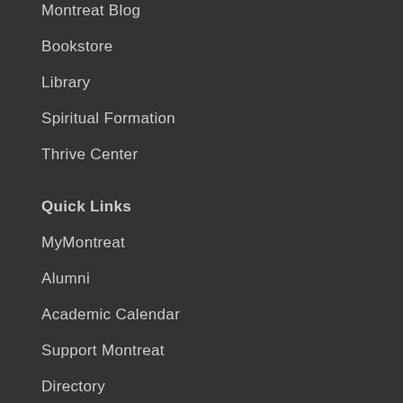Montreat Blog
Bookstore
Library
Spiritual Formation
Thrive Center
Quick Links
MyMontreat
Alumni
Academic Calendar
Support Montreat
Directory
Registrar